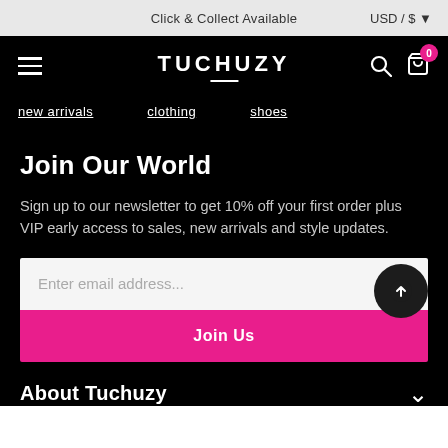Click & Collect Available   USD / $
TUCHUZY
Join Our World
Sign up to our newsletter to get 10% off your first order plus VIP early access to sales, new arrivals and style updates.
Enter email address...
Join Us
About Tuchuzy